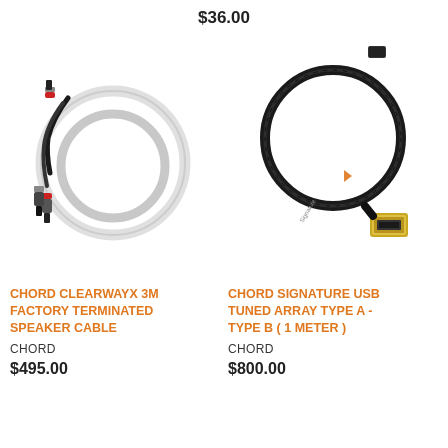$36.00
[Figure (photo): Chord ClearwayX 3M speaker cable coiled with black and red banana plug connectors on a white background]
[Figure (photo): Chord Signature USB cable with gold Type A connector and black braided cable coiled on a white background]
CHORD CLEARWAYX 3M FACTORY TERMINATED SPEAKER CABLE
CHORD
$495.00
CHORD SIGNATURE USB TUNED ARRAY TYPE A - TYPE B ( 1 METER )
CHORD
$800.00